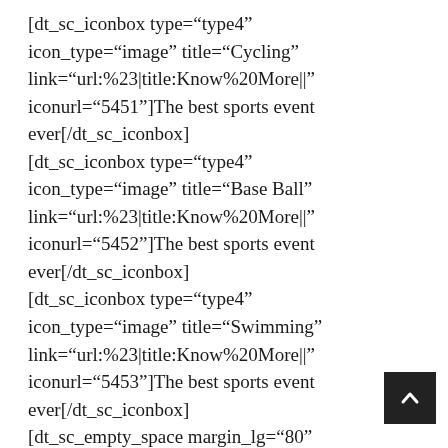[dt_sc_iconbox type="type4" icon_type="image" title="Cycling" link="url:%23|title:Know%20More||" iconurl="5451"]The best sports event ever[/dt_sc_iconbox] [dt_sc_iconbox type="type4" icon_type="image" title="Base Ball" link="url:%23|title:Know%20More||" iconurl="5452"]The best sports event ever[/dt_sc_iconbox] [dt_sc_iconbox type="type4" icon_type="image" title="Swimming" link="url:%23|title:Know%20More||" iconurl="5453"]The best sports event ever[/dt_sc_iconbox] [dt_sc_empty_space margin_lg="80" margin_md="60" margin_sm="40" margin_xs="40"